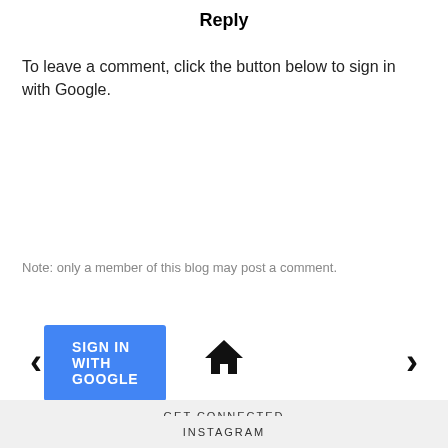Reply
To leave a comment, click the button below to sign in with Google.
[Figure (other): Blue 'SIGN IN WITH GOOGLE' button]
Note: only a member of this blog may post a comment.
[Figure (infographic): Navigation bar with left arrow, home icon, and right arrow]
GET CONNECTED
[Figure (infographic): Social media icons: Twitter, Instagram, Facebook, Google+, Pinterest, YouTube, Email]
INSTAGRAM